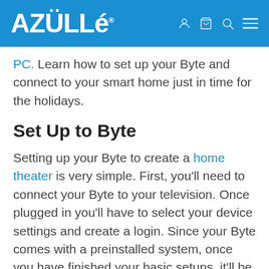AZULLE
PC. Learn how to set up your Byte and connect to your smart home just in time for the holidays.
Set Up to Byte
Setting up your Byte to create a home theater is very simple. First, you'll need to connect your Byte to your television. Once plugged in you'll have to select your device settings and create a login. Since your Byte comes with a preinstalled system, once you have finished your basic setups, it'll be instantly be ready for use and customizing